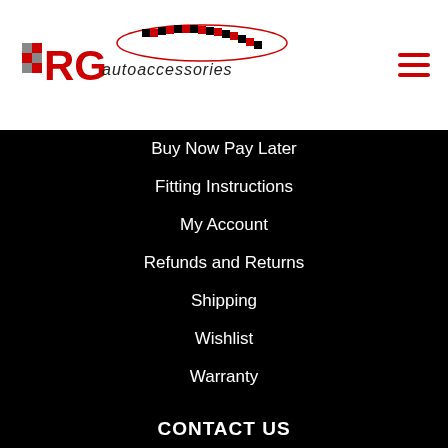RG autoaccessories
Buy Now Pay Later
Fitting Instructions
My Account
Refunds and Returns
Shipping
Wishlist
Warranty
CONTACT US
Phone: 0414864586
Email: repliglass@bigpond.com
STAY IN TOUCH